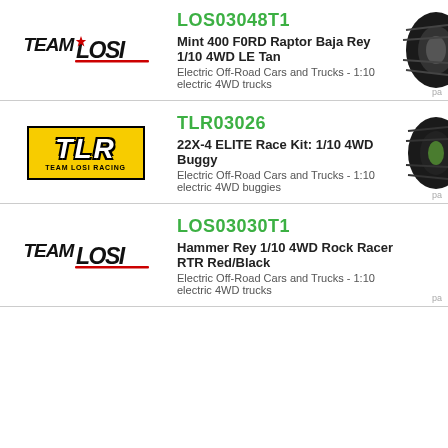pa
[Figure (logo): Team Losi brand logo in black and white with stylized text]
LOS03048T1
Mint 400 F0RD Raptor Baja Rey 1/10 4WD LE Tan
Electric Off-Road Cars and Trucks - 1:10 electric 4WD trucks
[Figure (photo): Partial photo of RC truck wheel/tire]
pa
[Figure (logo): Team Losi Racing (TLR) logo - yellow background with black border, white italic TLR text]
TLR03026
22X-4 ELITE Race Kit: 1/10 4WD Buggy
Electric Off-Road Cars and Trucks - 1:10 electric 4WD buggies
[Figure (photo): Partial photo of RC buggy tire/wheel]
pa
[Figure (logo): Team Losi brand logo in black and white with stylized text]
LOS03030T1
Hammer Rey 1/10 4WD Rock Racer RTR Red/Black
Electric Off-Road Cars and Trucks - 1:10 electric 4WD trucks
pa